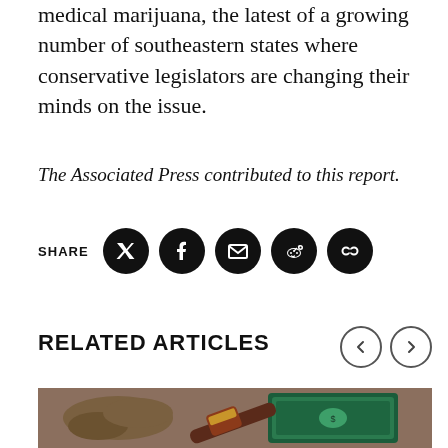medical marijuana, the latest of a growing number of southeastern states where conservative legislators are changing their minds on the issue.
The Associated Press contributed to this report.
SHARE
RELATED ARTICLES
[Figure (photo): A gavel, cannabis buds, and a stack of US dollar bills arranged on a wooden surface — illustrating the intersection of marijuana law and finance.]